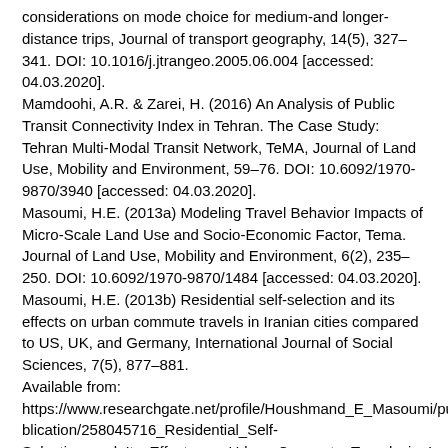considerations on mode choice for medium-and longer-distance trips, Journal of transport geography, 14(5), 327–341. DOI: 10.1016/j.jtrangeo.2005.06.004 [accessed: 04.03.2020]. Mamdoohi, A.R. & Zarei, H. (2016) An Analysis of Public Transit Connectivity Index in Tehran. The Case Study: Tehran Multi-Modal Transit Network, TeMA, Journal of Land Use, Mobility and Environment, 59–76. DOI: 10.6092/1970-9870/3940 [accessed: 04.03.2020]. Masoumi, H.E. (2013a) Modeling Travel Behavior Impacts of Micro-Scale Land Use and Socio-Economic Factor, Tema. Journal of Land Use, Mobility and Environment, 6(2), 235–250. DOI: 10.6092/1970-9870/1484 [accessed: 04.03.2020]. Masoumi, H.E. (2013b) Residential self-selection and its effects on urban commute travels in Iranian cities compared to US, UK, and Germany, International Journal of Social Sciences, 7(5), 877–881. Available from: https://www.researchgate.net/profile/Houshmand_E_Masoumi/publication/258045716_Residential_Self-Selection_and_Its_Effects_on_Urban_Commute_Travels_in_Iranian_Cities_Compared_to_US_UK_and_Germany/links/00463526b8959b4923000000/Residential-Self-Selection-